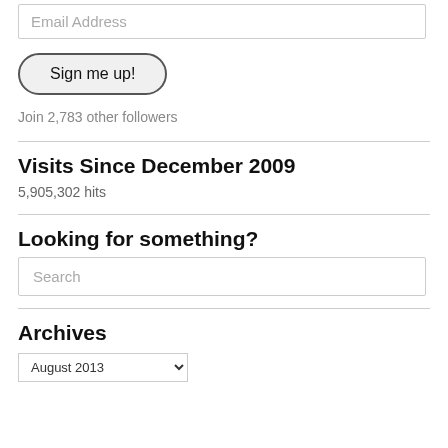Email Address
Sign me up!
Join 2,783 other followers
Visits Since December 2009
5,905,302 hits
Looking for something?
Search
Archives
August 2013